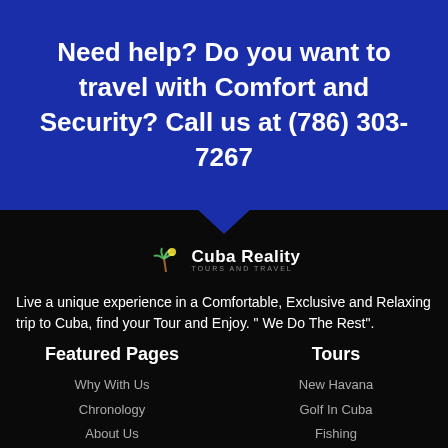Need help? Do you want to travel with Comfort and Security? Call us at (786) 303-7267
[Figure (logo): Cuba Reality Tours and Travel logo with palm tree icon]
Live a unique experience in a Comfortable, Exclusive and Relaxing trip to Cuba, find your Tour and Enjoy. " We Do The Rest".
Featured Pages
Tours
Why With Us
New Havana
Chronology
Golf In Cuba
About Us
Fishing
Contact US
Culinary
Account
Bird Watching